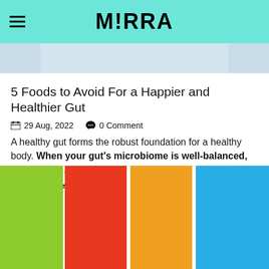M!RRA
[Figure (photo): Top cropped image, light blue/gray background visible at bottom]
5 Foods to Avoid For a Happier and Healthier Gut
29 Aug, 2022   0 Comment
A healthy gut forms the robust foundation for a healthy body. When your gut’s microbiome is well-balanced, nearly eve …
READ MORE
[Figure (photo): Four colored vertical panels: lime green, red, orange, blue]